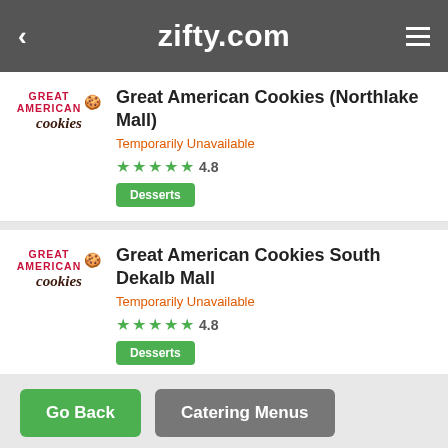zifty.com
Great American Cookies (Northlake Mall)
Temporarily Unavailable
4.8
Desserts
Great American Cookies South Dekalb Mall
Temporarily Unavailable
4.8
Desserts
Go Back
Catering Menus